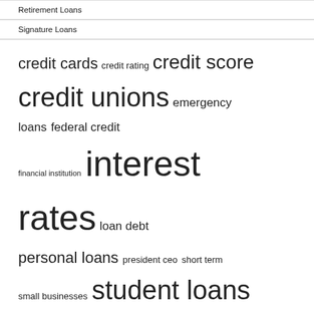Retirement Loans
Signature Loans
[Figure (infographic): Tag cloud with finance-related terms in varying font sizes: credit cards, credit rating, credit score, credit unions, emergency loans, federal credit, financial institution, interest rates, loan debt, personal loans, president ceo, short term, small businesses, student loans, united states]
RECENT POSTS
Short-term car and you will use today on the Internet